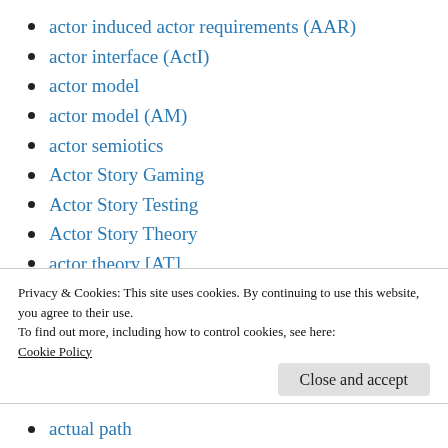actor induced actor requirements (AAR)
actor interface (ActI)
actor model
actor model (AM)
actor semiotics
Actor Story Gaming
Actor Story Testing
Actor Story Theory
actor theory [AT]
actor-actor interaction (AAI)
Actor-Actor Story (AAS)
Privacy & Cookies: This site uses cookies. By continuing to use this website, you agree to their use.
To find out more, including how to control cookies, see here:
Cookie Policy
Close and accept
actual path